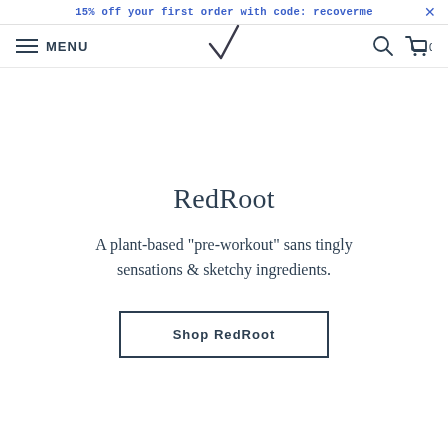15% off your first order with code: recoverme
MENU
RedRoot
A plant-based "pre-workout" sans tingly sensations & sketchy ingredients.
Shop RedRoot